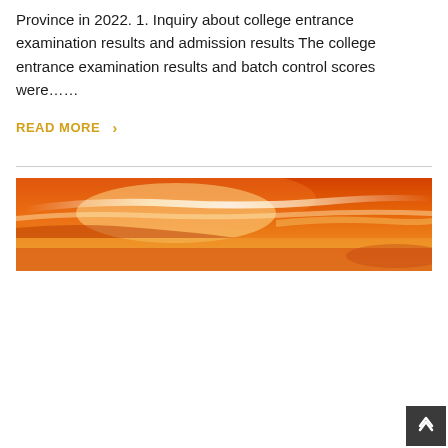Province in 2022. 1. Inquiry about college entrance examination results and admission results The college entrance examination results and batch control scores were……
READ MORE ›
[Figure (photo): Wide panoramic photo of a dramatic orange and golden sunset sky with wispy clouds]